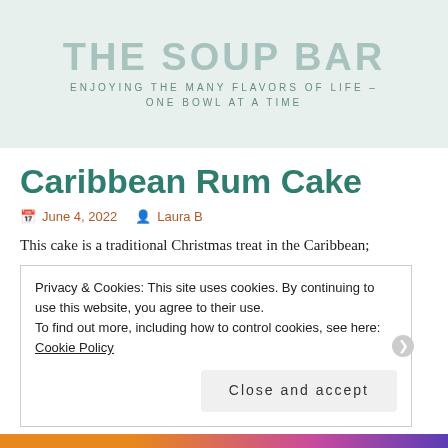THE SOUP BAR — ENJOYING THE MANY FLAVORS OF LIFE – ONE BOWL AT A TIME
Caribbean Rum Cake
June 4, 2022   Laura B
This cake is a traditional Christmas treat in the Caribbean;
Privacy & Cookies: This site uses cookies. By continuing to use this website, you agree to their use.
To find out more, including how to control cookies, see here: Cookie Policy
[Close and accept]